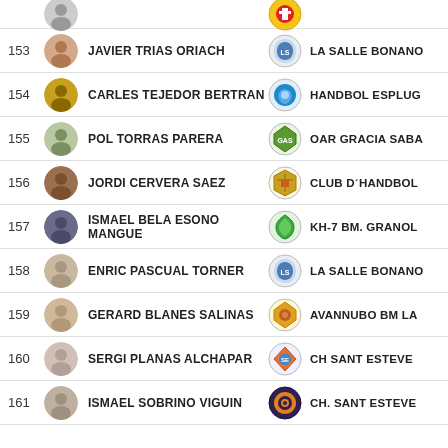153 JAVIER TRIAS ORIACH - LA SALLE BONANO
154 CARLES TEJEDOR BERTRAN - HANDBOL ESPLUG
155 POL TORRAS PARERA - OAR GRACIA SABA
156 JORDI CERVERA SAEZ - CLUB D'HANDBOL
157 ISMAEL BELA ESONO MANGUE - KH-7 BM. GRANOL
158 ENRIC PASCUAL TORNER - LA SALLE BONANO
159 GERARD BLANES SALINAS - AVANNUBO BM LA
160 SERGI PLANAS ALCHAPAR - CH SANT ESTEVE
161 ISMAEL SOBRINO VIGUIN - CH. SANT ESTEVE